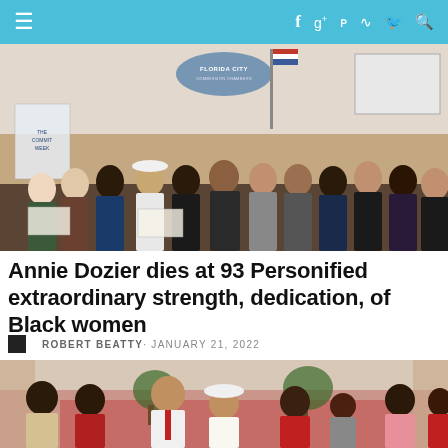≡  f  g+  p  RSS  Twitter  Search
[Figure (photo): Group photo of many people standing together in front of a Florida City sign/seal in what appears to be a government meeting room. Some people are holding large checks.]
Annie Dozier dies at 93 Personified extraordinary strength, dedication, of Black women
ROBERT BEATTY· JANUARY 21, 2022
[Figure (photo): Group of about 6-7 people posing together in what appears to be a church or formal venue with red chairs/sofas. One person in the center is wearing a white suit and red tie, and one person is wearing a white hat.]